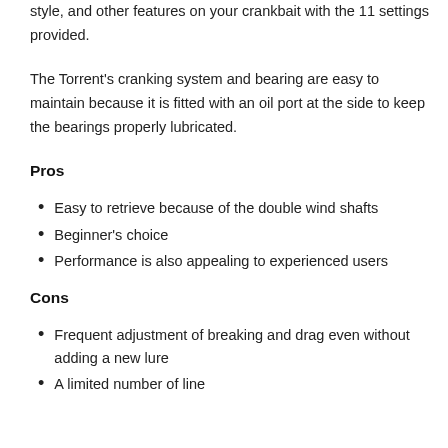style, and other features on your crankbait with the 11 settings provided.
The Torrent's cranking system and bearing are easy to maintain because it is fitted with an oil port at the side to keep the bearings properly lubricated.
Pros
Easy to retrieve because of the double wind shafts
Beginner's choice
Performance is also appealing to experienced users
Cons
Frequent adjustment of breaking and drag even without adding a new lure
A limited number of line